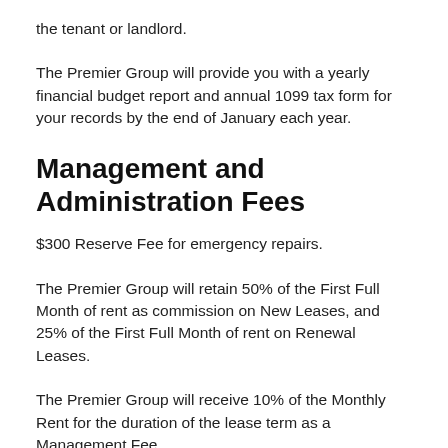the tenant or landlord.
The Premier Group will provide you with a yearly financial budget report and annual 1099 tax form for your records by the end of January each year.
Management and Administration Fees
$300 Reserve Fee for emergency repairs.
The Premier Group will retain 50% of the First Full Month of rent as commission on New Leases, and 25% of the First Full Month of rent on Renewal Leases.
The Premier Group will receive 10% of the Monthly Rent for the duration of the lease term as a Management Fee.